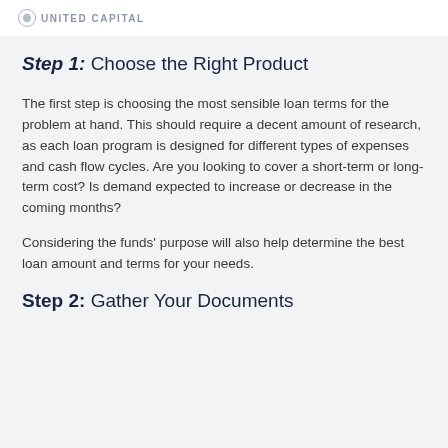UNITED CAPITAL
Step 1: Choose the Right Product
The first step is choosing the most sensible loan terms for the problem at hand. This should require a decent amount of research, as each loan program is designed for different types of expenses and cash flow cycles. Are you looking to cover a short-term or long-term cost? Is demand expected to increase or decrease in the coming months?
Considering the funds' purpose will also help determine the best loan amount and terms for your needs.
Step 2: Gather Your Documents